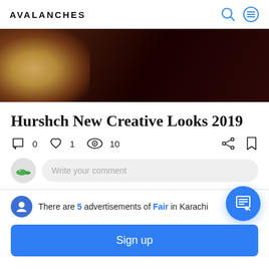AVALANCHES
[Figure (photo): Dark blurred hero image with warm bokeh light on left side]
Hurshch New Creative Looks 2019
0  1  10
Write your comment
There are 5 advertisements of Fair in Karachi
Sign up